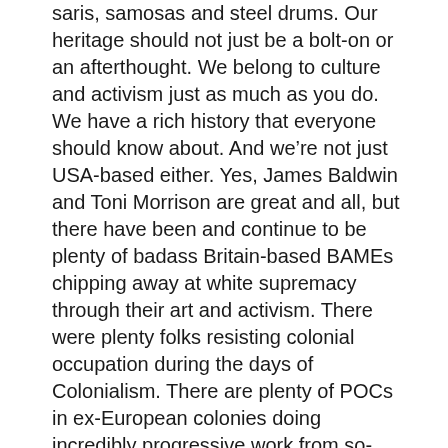saris, samosas and steel drums. Our heritage should not just be a bolt-on or an afterthought. We belong to culture and activism just as much as you do. We have a rich history that everyone should know about. And we're not just USA-based either. Yes, James Baldwin and Toni Morrison are great and all, but there have been and continue to be plenty of badass Britain-based BAMEs chipping away at white supremacy through their art and activism. There were plenty folks resisting colonial occupation during the days of Colonialism. There are plenty of POCs in ex-European colonies doing incredibly progressive work from so-called 'backwards' 'uncivilised' countries. Read up and let them flood you with inspiration. Psst – If you're into social / cultural history and based in the north-west of England, you might want to visit the Race Relations Archive in Manchester.